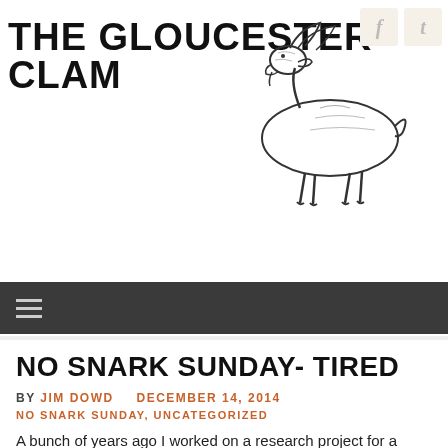THE GLOUCESTER CLAM
[Figure (illustration): Black and white line drawing of a goat standing in profile]
[Figure (other): Social media icons for Facebook and Twitter in cream/beige rounded squares]
[Figure (other): Dark navigation bar with hamburger menu icon]
NO SNARK SUNDAY- TIRED
BY JIM DOWD   DECEMBER 14, 2014
NO SNARK SUNDAY, UNCATEGORIZED
A bunch of years ago I worked on a research project for a major auto manufacturer. It was a simple survey around what people wanted in a new car. One of the questions read: “Would you like a full-size spare tire in place of the smaller “temporary” tire currently included with most cars?”